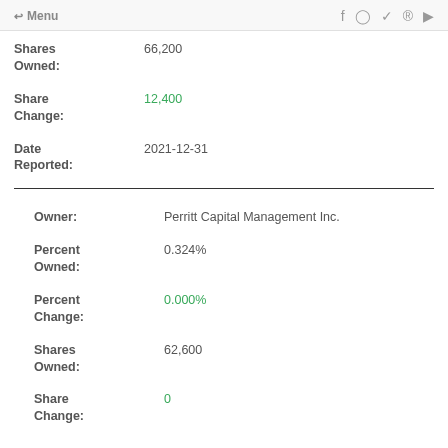← Menu  f  Instagram  Twitter  Pinterest  YouTube
Shares Owned: 66,200
Share Change: 12,400
Date Reported: 2021-12-31
Owner: Perritt Capital Management Inc.
Percent Owned: 0.324%
Percent Change: 0.000%
Shares Owned: 62,600
Share Change: 0